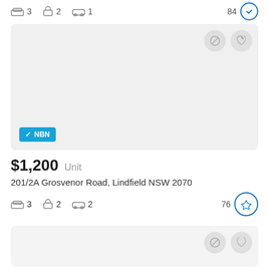3  2  1  84
[Figure (screenshot): Property listing card with light grey placeholder image, NBN badge, action icons]
$1,200  Unit
201/2A Grosvenor Road, Lindfield NSW 2070
3  2  2  76
[Figure (screenshot): Second property listing card, partial view with action icons]